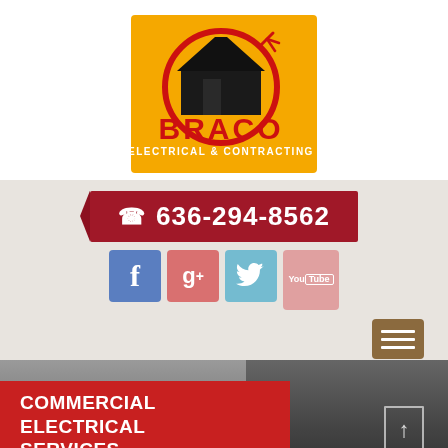[Figure (logo): Braco Electrical & Contracting company logo on orange/yellow background with house silhouette and electrical plug icon in a red circle, red bold text BRACO and white text ELECTRICAL & CONTRACTING below]
636-294-8562
[Figure (infographic): Social media icons: Facebook (f), Google+ (g+), Twitter (bird), YouTube (You Tube)]
[Figure (infographic): Hamburger menu button (three horizontal lines) on brown/tan background]
[Figure (photo): Commercial parking garage interior, grayscale, with yellow parking stripes visible]
COMMERCIAL ELECTRICAL SERVICES